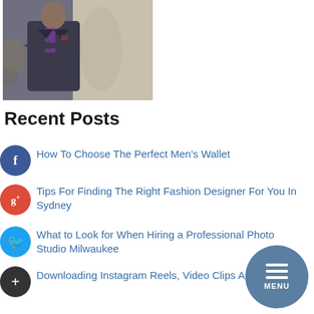[Figure (photo): A man in a dark suit with purple shirt, arms crossed, standing against a decorative wall]
Recent Posts
How To Choose The Perfect Men's Wallet
Tips For Finding The Right Fashion Designer For You In Sydney
What to Look for When Hiring a Professional Photo Studio Milwaukee
Downloading Instagram Reels, Video Clips And Stories